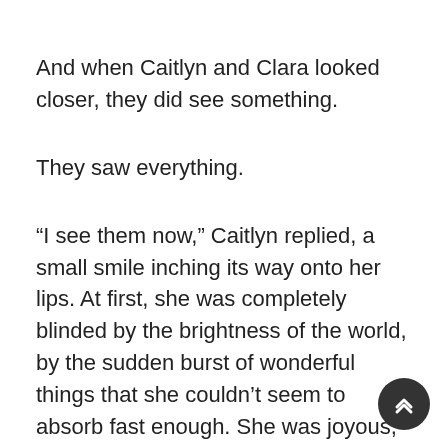And when Caitlyn and Clara looked closer, they did see something.
They saw everything.
“I see them now,” Caitlyn replied, a small smile inching its way onto her lips. At first, she was completely blinded by the brightness of the world, by the sudden burst of wonderful things that she couldn’t seem to absorb fast enough. She was joyous, stunned, and ecstatic of the trees that swayed, wind that tickled, sun that planted warm kisses on her cheeks. She was so happy, she lost control for a moment.